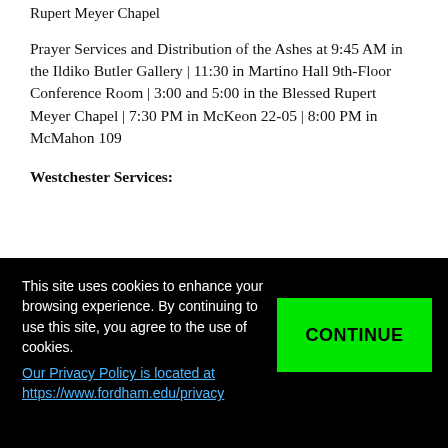Rupert Meyer Chapel
Prayer Services and Distribution of the Ashes at 9:45 AM in the Ildiko Butler Gallery | 11:30 in Martino Hall 9th-Floor Conference Room | 3:00 and 5:00 in the Blessed Rupert Meyer Chapel | 7:30 PM in McKeon 22-05 | 8:00 PM in McMahon 109
Westchester Services:
This site uses cookies to enhance your browsing experience. By continuing to use this site, you agree to the use of cookies. Our Privacy Policy is located at https://www.fordham.edu/privacy